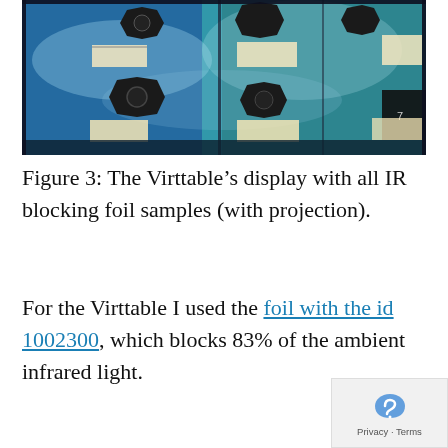[Figure (photo): Photo of the Virttable display showing multiple dark octagonal IR blocking foil samples arranged on a blue projected surface with small white label cards.]
Figure 3: The Virttable's display with all IR blocking foil samples (with projection).
For the Virttable I used the foil with the id 1002300, which blocks 83% of the ambient infrared light.